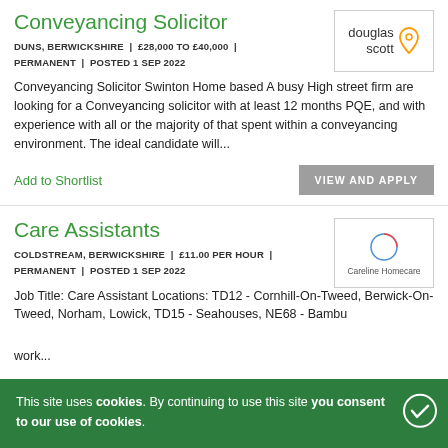Conveyancing Solicitor
DUNS, BERWICKSHIRE | £28,000 TO £40,000 | PERMANENT | POSTED 1 SEP 2022
Conveyancing Solicitor Swinton Home based A busy High street firm are looking for a Conveyancing solicitor with at least 12 months PQE, and with experience with all or the majority of that spent within a conveyancing environment. The ideal candidate will...
Care Assistants
COLDSTREAM, BERWICKSHIRE | £11.00 PER HOUR | PERMANENT | POSTED 1 SEP 2022
Job Title: Care Assistant Locations: TD12 - Cornhill-On-Tweed, Berwick-On-Tweed, Norham, Lowick, TD15 - Seahouses, NE68 - Bamburgh, NE65 Belford, NE70 Mileld, NE61 Wecker Pay Rate: £1... payment after a week of work...
This site uses cookies. By continuing to use this site you consent to our use of cookies.